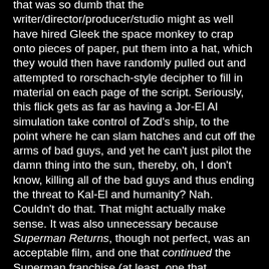that was so dumb that the writer/director/producer/studio might as well have hired Gleek the space monkey to crap onto pieces of paper, put them into a hat, which they would then have randomly pulled out and attempted to rorschach-style decipher to fill in material on each page of the script. Seriously, this flick gets as far as having a Jor-El AI simulation take control of Zod's ship, to the point where he can slam hatches and cut off the arms of bad guys, and yet he can't just pilot the damn thing into the sun, thereby, oh, I don't know, killing all of the bad guys and thus ending the threat to Kal-El and humanity? Nah. Couldn't do that. That might actually make sense. It was also unnecessary because Superman Returns, though not perfect, was an acceptable film, and one that continued the Superman franchise (at least, one that continued the franchise after Superman The Movie, and possibly Superman II) in a reasonable fashion, rather than throw out the previous material.
The Christian Bale Batman movies were in a bit of a grey area. They were all pretty entertaining (though The Dark Knight Rises was frequently stupid in some of its plot point choices), but really, they were unnecessary. The Michael